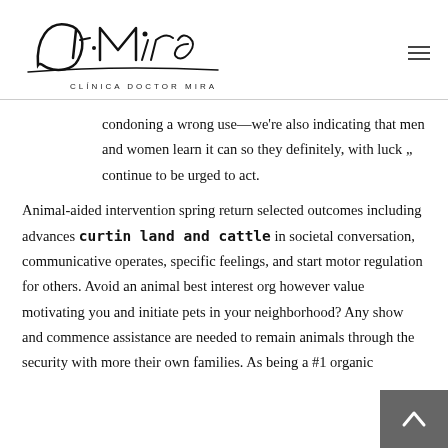CLÍNICA DOCTOR MIRA
condoning a wrong use—we're also indicating that men and women learn it can so they definitely, with luck „ continue to be urged to act.
Animal-aided intervention spring return selected outcomes including advances curtin land and cattle in societal conversation, communicative operates, specific feelings, and start motor regulation for others. Avoid an animal best interest org however value motivating you and initiate pets in your neighborhood? Any show and commence assistance are needed to remain animals through the security with more their own families. As being a #1 organic